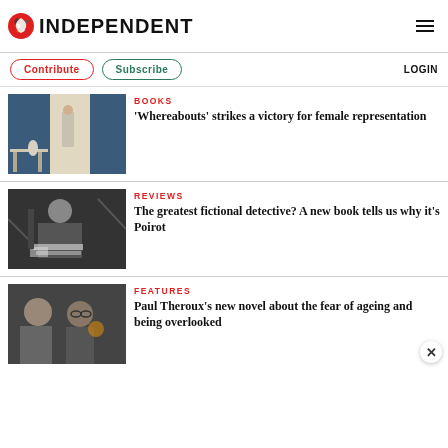INDEPENDENT
Contribute | Subscribe | LOGIN
BOOKS
'Whereabouts' strikes a victory for female representation
[Figure (photo): Photo of a woman standing in a doorway in a blue room with a dining table]
REVIEWS
The greatest fictional detective? A new book tells us why it's Poirot
[Figure (photo): Black and white photo of an older person seated at a table with papers]
FEATURES
Paul Theroux's new novel about the fear of ageing and being overlooked
[Figure (photo): Photo of two older men, one wearing glasses]